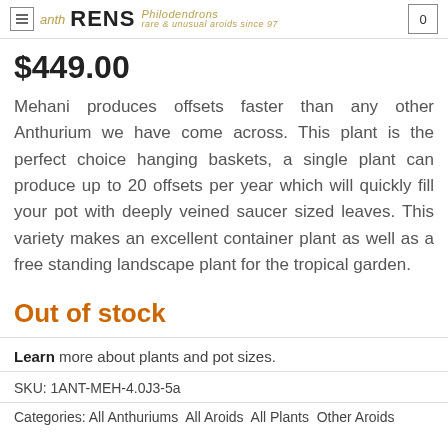Anthurium Philodendrons – rare & unusual aroids since 97 | Cart: 0
$449.00
Mehani produces offsets faster than any other Anthurium we have come across. This plant is the perfect choice hanging baskets, a single plant can produce up to 20 offsets per year which will quickly fill your pot with deeply veined saucer sized leaves. This variety makes an excellent container plant as well as a free standing landscape plant for the tropical garden.
Out of stock
Learn more about plants and pot sizes.
SKU: 1ANT-MEH-4.0J3-5a
Categories: All Anthuriums All Aroids All Plants Other Aroids